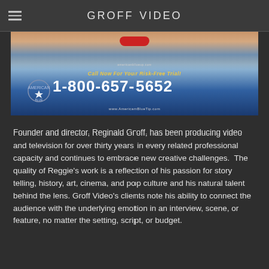GROFF VIDEO
[Figure (photo): Advertisement image showing a woman's face with red lips at top, over a blue wave background. Text reads 'Call Now For Your Risk-Free Trial! 1-800-657-5652 www.AmericanBlueTip.com' with a star logo on the left.]
Founder and director, Reginald Groff, has been producing video and television for over thirty years in every related professional capacity and continues to embrace new creative challenges.  The quality of Reggie's work is a reflection of his passion for story telling, history, art, cinema, and pop culture and his natural talent behind the lens. Groff Video's clients note his ability to connect the audience with the underlying emotion in an interview, scene, or feature, no matter the setting, script, or budget.